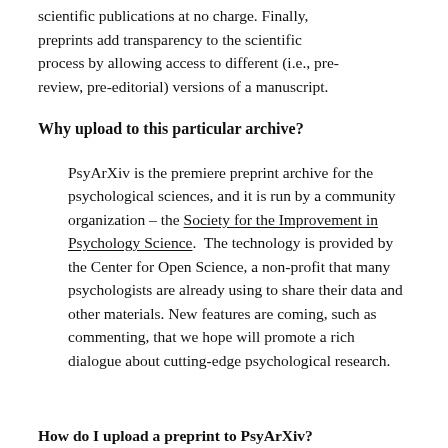scientific publications at no charge. Finally, preprints add transparency to the scientific process by allowing access to different (i.e., pre-review, pre-editorial) versions of a manuscript.
Why upload to this particular archive?
PsyArXiv is the premiere preprint archive for the psychological sciences, and it is run by a community organization – the Society for the Improvement in Psychology Science.  The technology is provided by the Center for Open Science, a non-profit that many psychologists are already using to share their data and other materials. New features are coming, such as commenting, that we hope will promote a rich dialogue about cutting-edge psychological research.
How do I upload a preprint to PsyArXiv?